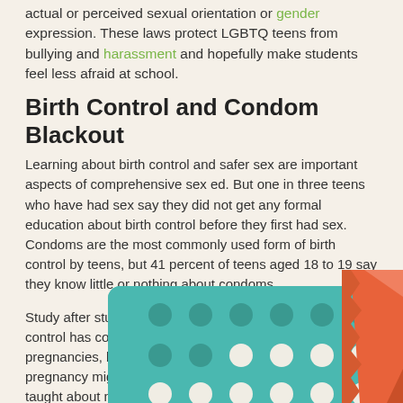actual or perceived sexual orientation or gender expression. These laws protect LGBTQ teens from bullying and harassment and hopefully make students feel less afraid at school.
Birth Control and Condom Blackout
Learning about birth control and safer sex are important aspects of comprehensive sex ed. But one in three teens who have had sex say they did not get any formal education about birth control before they first had sex. Condoms are the most commonly used form of birth control by teens, but 41 percent of teens aged 18 to 19 say they know little or nothing about condoms.
Study after study have shown that improved use of birth control has contributed to the reduced rates of teen pregnancies, but think of how much lower the rates of teen pregnancy might be if state laws required that teens be taught about not only abstinence but birth control and safer sex.
[Figure (illustration): Illustration showing a teal/turquoise pill pack (birth control pills) with circular pill indentations and white pills visible, alongside an orange condom wrapper on the right side.]